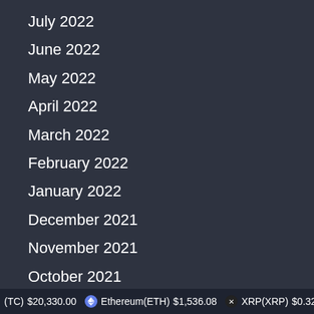July 2022
June 2022
May 2022
April 2022
March 2022
February 2022
January 2022
December 2021
November 2021
October 2021
September 2021
(TC) $20,330.00  Ethereum(ETH) $1,536.08  XRP(XRP) $0.32